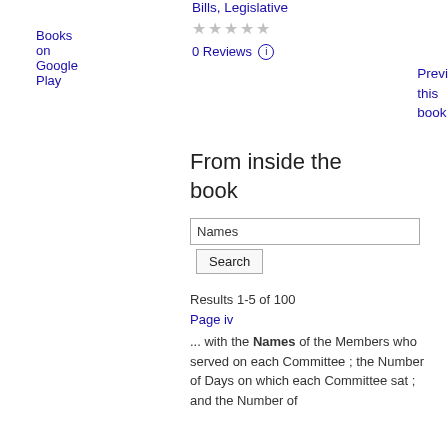Books on Google Play
Bills, Legislative
★★★★★
0 Reviews ⓘ
Preview this book
From inside the book
Names
Search
Results 1-5 of 100
Page iv
... with the Names of the Members who served on each Committee ; the Number of Days on which each Committee sat ; and the Number of